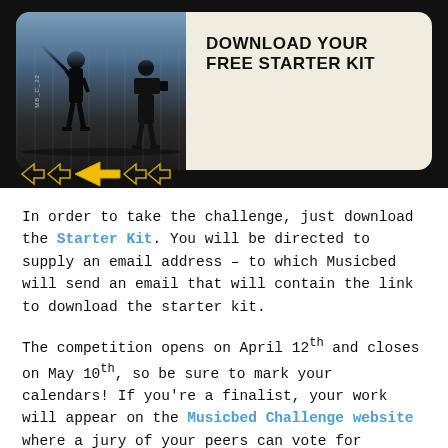[Figure (photo): Banner image with dark background showing film crew silhouettes on left (photo side) and cream/off-white right panel with bold text 'DOWNLOAD YOUR FREE STARTER KIT'. Yellow arrow decorations at bottom left. Rounded card style.]
In order to take the challenge, just download the Starter Kit. You will be directed to supply an email address – to which Musicbed will send an email that will contain the link to download the starter kit.
The competition opens on April 12th and closes on May 10th, so be sure to mark your calendars! If you're a finalist, your work will appear on the Musicbed Challenge website where a jury of your peers can vote for